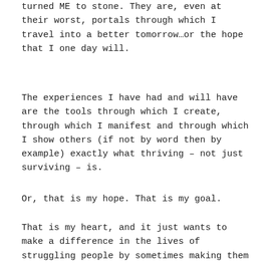turned ME to stone. They are, even at their worst, portals through which I travel into a better tomorrow…or the hope that I one day will.
The experiences I have had and will have are the tools through which I create, through which I manifest and through which I show others (if not by word then by example) exactly what thriving – not just surviving – is.
Or, that is my hope. That is my goal.
That is my heart, and it just wants to make a difference in the lives of struggling people by sometimes making them